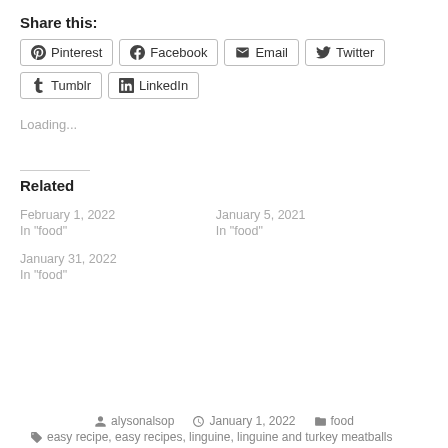Share this:
Pinterest  Facebook  Email  Twitter  Tumblr  LinkedIn
Loading...
Related
February 1, 2022
In "food"
January 5, 2021
In "food"
January 31, 2022
In "food"
alysonalsop   January 1, 2022   food
easy recipe, easy recipes, linguine, linguine and turkey meatballs